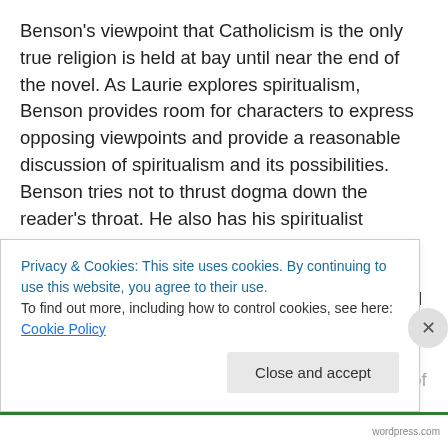Benson's viewpoint that Catholicism is the only true religion is held at bay until near the end of the novel. As Laurie explores spiritualism, Benson provides room for characters to express opposing viewpoints and provide a reasonable discussion of spiritualism and its possibilities. Benson tries not to thrust dogma down the reader's throat. He also has his spiritualist advocates speak favorably of religion—any religion—except the Catholic Church as the one they do not like. One might see this as the typical prejudice against Catholics espoused in other Gothic novels, but instead, Benson's point is that none of the
Privacy & Cookies: This site uses cookies. By continuing to use this website, you agree to their use.
To find out more, including how to control cookies, see here: Cookie Policy
Close and accept